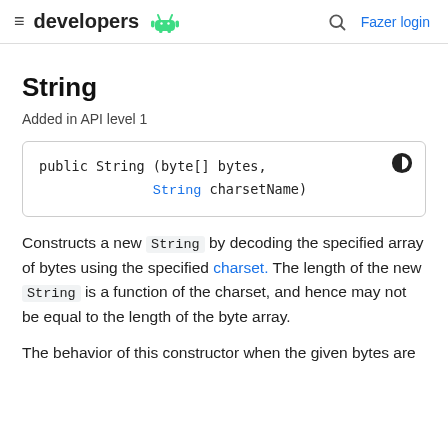≡ developers [android logo] | 🔍 Fazer login
String
Added in API level 1
Constructs a new String by decoding the specified array of bytes using the specified charset. The length of the new String is a function of the charset, and hence may not be equal to the length of the byte array.
The behavior of this constructor when the given bytes are